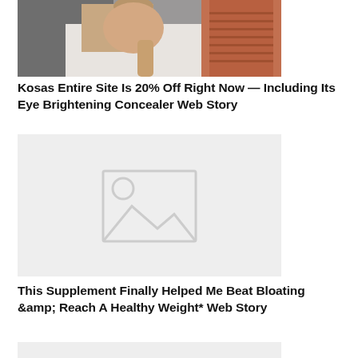[Figure (photo): Woman applying makeup or examining her face, wearing white shirt, with terracotta pots in background]
Kosas Entire Site Is 20% Off Right Now — Including Its Eye Brightening Concealer Web Story
[Figure (photo): Placeholder image with image icon on gray background]
This Supplement Finally Helped Me Beat Bloating &amp; Reach A Healthy Weight* Web Story
[Figure (photo): Placeholder image with image icon on gray background (partially visible)]